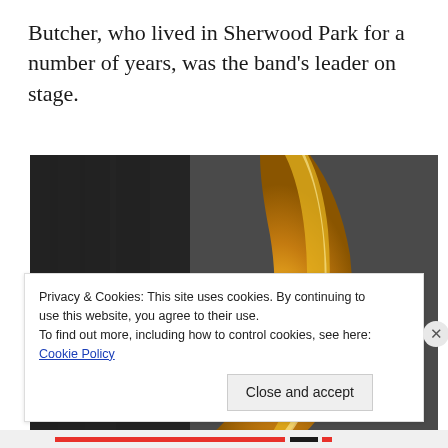Butcher, who lived in Sherwood Park for a number of years, was the band's leader on stage.
[Figure (photo): Close-up photograph of a brass/gold musical instrument (likely a tuba or French horn bell), showing the shiny golden metal curve against a dark grey background.]
Privacy & Cookies: This site uses cookies. By continuing to use this website, you agree to their use.
To find out more, including how to control cookies, see here: Cookie Policy

[Close and accept]